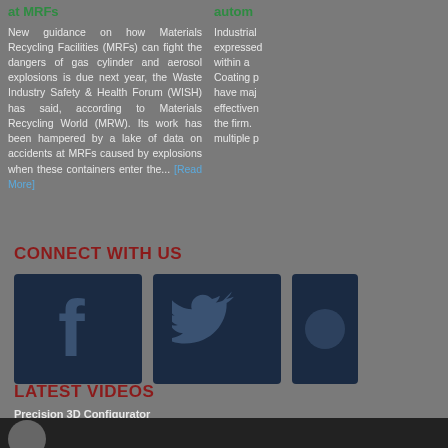at MRFs
New guidance on how Materials Recycling Facilities (MRFs) can fight the dangers of gas cylinder and aerosol explosions is due next year, the Waste Industry Safety & Health Forum (WISH) has said, according to Materials Recycling World (MRW). Its work has been hampered by a lake of data on accidents at MRFs caused by explosions when these containers enter the... [Read More]
autom...
Industrial expressed within a Coating p have maj effectiven the firm. multiple p
CONNECT WITH US
[Figure (logo): Facebook logo icon on dark navy background]
[Figure (logo): Twitter bird logo icon on dark navy background]
[Figure (logo): Partial social media icon on dark navy background (cut off)]
LATEST VIDEOS
Precision 3D Configurator
[Figure (photo): Bottom strip showing partial avatar/person image]